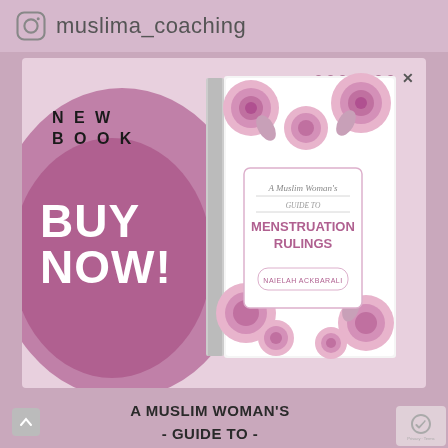muslima_coaching
[Figure (illustration): Advertisement card for a book titled 'A Muslim Woman's Guide to Menstruation Rulings'. Left side shows a large pink/purple circular background with text 'NEW BOOK' in black bold letters and 'BUY NOW!' in large white bold letters. Right side shows the book cover with pink rose patterns and the title text. Seven dots and an X close button appear at top right of the card.]
A MUSLIM WOMAN'S - GUIDE TO - MENSTRUATION RULINGS